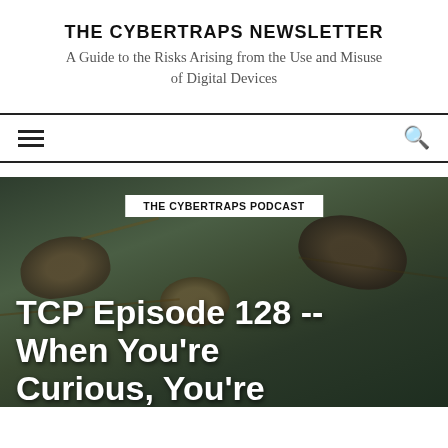THE CYBERTRAPS NEWSLETTER
A Guide to the Risks Arising from the Use and Misuse of Digital Devices
[Figure (screenshot): Navigation bar with hamburger menu icon on left and search icon on right, bordered top and bottom with black lines]
[Figure (photo): Hero image showing turtles in dark water/swamp environment with white category badge reading 'THE CYBERTRAPS PODCAST' and large white bold title text 'TCP Episode 128 -- When You're Curious You're']